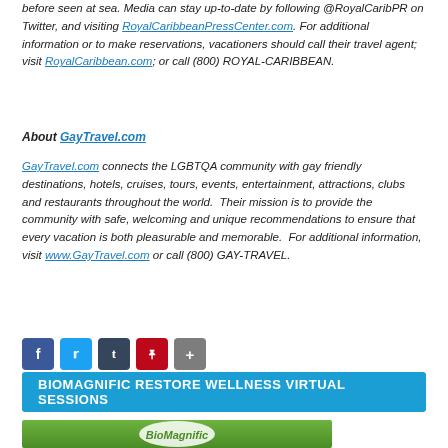before seen at sea. Media can stay up-to-date by following @RoyalCaribPR on Twitter, and visiting RoyalCaribbeanPressCenter.com. For additional information or to make reservations, vacationers should call their travel agent; visit RoyalCaribbean.com; or call (800) ROYAL-CARIBBEAN.
About GayTravel.com
GayTravel.com connects the LGBTQA community with gay friendly destinations, hotels, cruises, tours, events, entertainment, attractions, clubs and restaurants throughout the world.  Their mission is to provide the community with safe, welcoming and unique recommendations to ensure that every vacation is both pleasurable and memorable.  For additional information, visit www.GayTravel.com or call (800) GAY-TRAVEL.
[Figure (infographic): Social share buttons: Facebook, Twitter, Tumblr, Pinterest, Share]
BIOMAGNIFIC RESTORE WELLNESS VIRTUAL SESSIONS
[Figure (photo): BioMagnific logo on green background]